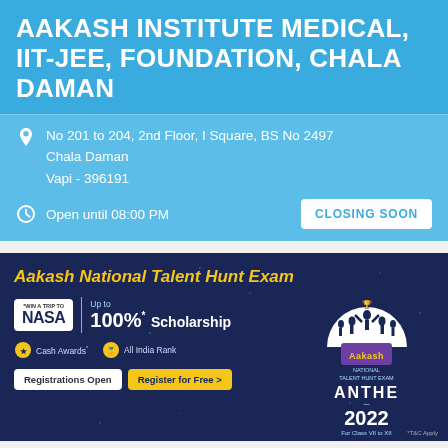AAKASH INSTITUTE MEDICAL, IIT-JEE, FOUNDATION, CHALA DAMAN
No 201 to 204, 2nd Floor, I Square, BS No 2497
Chala Daman
Vapi - 396191
Open until 08:00 PM
CLOSING SOON
[Figure (infographic): Aakash National Talent Hunt Exam advertisement banner. Shows NASA logo with '*Win a trip to' text, Up to 100%* Scholarship, Cash Awards and All India Rank badges, Registrations Open and Register for Free buttons. Right side shows ANTHE 2022 logo with silhouettes of students, For Class VII to XII.]
CALL
DIRECTIONS